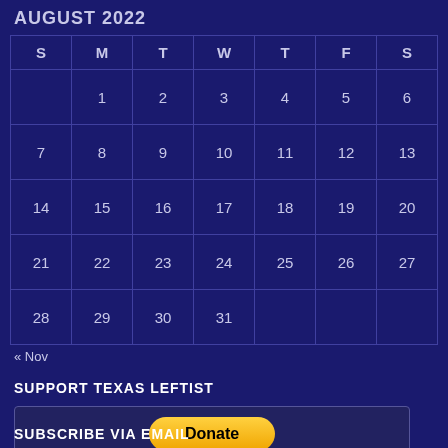AUGUST 2022
| S | M | T | W | T | F | S |
| --- | --- | --- | --- | --- | --- | --- |
|  | 1 | 2 | 3 | 4 | 5 | 6 |
| 7 | 8 | 9 | 10 | 11 | 12 | 13 |
| 14 | 15 | 16 | 17 | 18 | 19 | 20 |
| 21 | 22 | 23 | 24 | 25 | 26 | 27 |
| 28 | 29 | 30 | 31 |  |  |  |
« Nov
SUPPORT TEXAS LEFTIST
[Figure (other): PayPal Donate button with credit card logos (Visa, Mastercard, American Express, Discover, and other cards)]
SUBSCRIBE VIA EMAIL